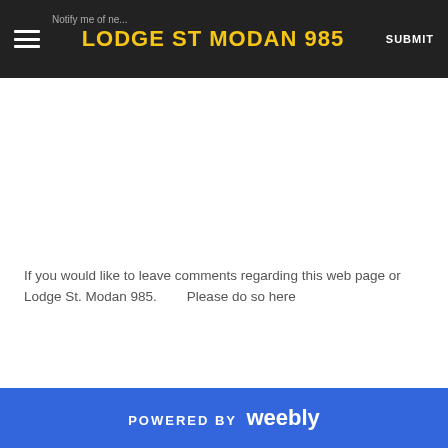LODGE ST MODAN 985
If you would like to leave comments regarding this web page or Lodge St. Modan 985.          Please do so here
Archives
January 2010
POWERED BY weebly